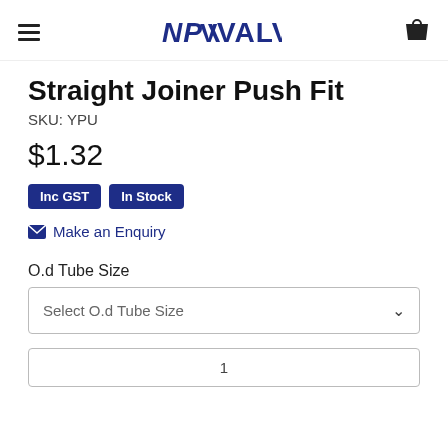NPV VALVES
Straight Joiner Push Fit
SKU: YPU
$1.32
Inc GST  In Stock
Make an Enquiry
O.d Tube Size
Select O.d Tube Size
1